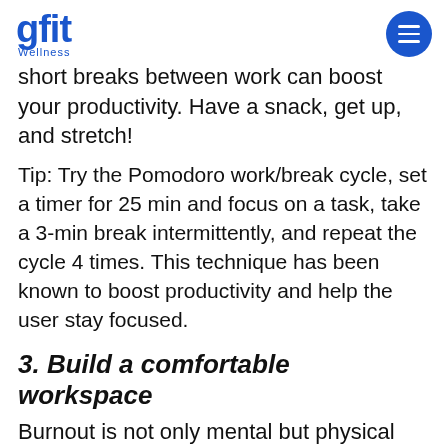gfit Wellness
short breaks between work can boost your productivity. Have a snack, get up, and stretch!
Tip: Try the Pomodoro work/break cycle, set a timer for 25 min and focus on a task, take a 3-min break intermittently, and repeat the cycle 4 times. This technique has been known to boost productivity and help the user stay focused.
3. Build a comfortable workspace
Burnout is not only mental but physical too.
Working at a desk that's too low or from a chair that's too high, while your back and neck get stiff from hours